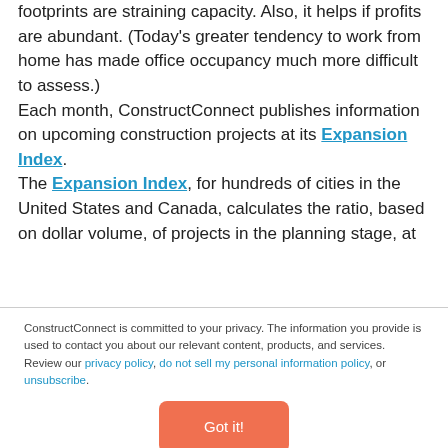footprints are straining capacity. Also, it helps if profits are abundant. (Today's greater tendency to work from home has made office occupancy much more difficult to assess.)
Each month, ConstructConnect publishes information on upcoming construction projects at its Expansion Index.
The Expansion Index, for hundreds of cities in the United States and Canada, calculates the ratio, based on dollar volume, of projects in the planning stage, at
ConstructConnect is committed to your privacy. The information you provide is used to contact you about our relevant content, products, and services. Review our privacy policy, do not sell my personal information policy, or unsubscribe.
Got it!